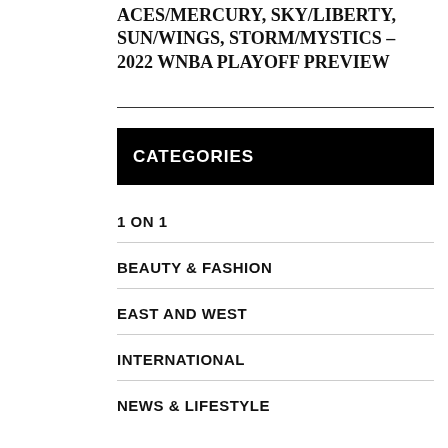ACES/MERCURY, SKY/LIBERTY, SUN/WINGS, STORM/MYSTICS – 2022 WNBA PLAYOFF PREVIEW
CATEGORIES
1 ON 1
BEAUTY & FASHION
EAST AND WEST
INTERNATIONAL
NEWS & LIFESTYLE